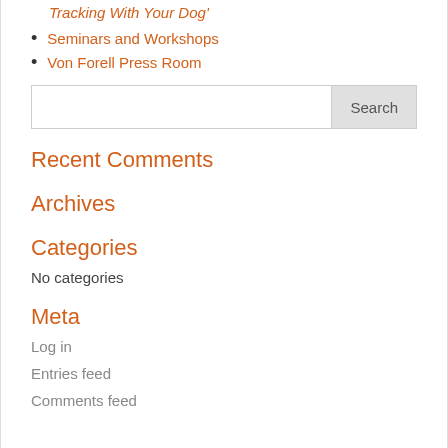Tracking With Your Dog'
Seminars and Workshops
Von Forell Press Room
Recent Comments
Archives
Categories
No categories
Meta
Log in
Entries feed
Comments feed